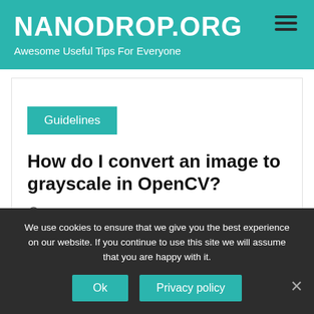NANODROP.ORG
Awesome Useful Tips For Everyone
Guidelines
How do I convert an image to grayscale in OpenCV?
Posted on 29/03/2021
We use cookies to ensure that we give you the best experience on our website. If you continue to use this site we will assume that you are happy with it.